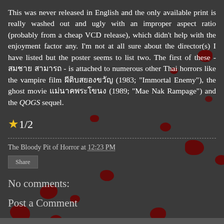This was never released in English and the only available print is really washed out and ugly with an improper aspect ratio (probably from a cheap VCD release), which didn't help with the enjoyment factor any. I'm not at all sure about the director(s) I have listed but the poster seems to list two. The first of these - สมชาย สามารถ - is attached to numerous other Thai horrors like the vampire film ผีดิบสยองขวัญ (1983; "Immortal Enemy"), the ghost movie แม่นาคพระโขนง (1989; "Mae Nak Rampage") and the QOGS sequel.
★1/2
The Bloody Pit of Horror at 12:23 PM
Share
No comments:
Post a Comment